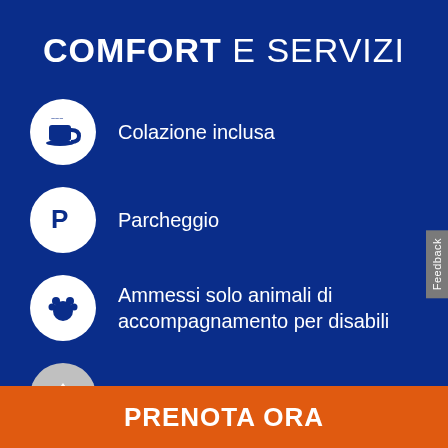COMFORT E SERVIZI
Colazione inclusa
Parcheggio
Ammessi solo animali di accompagnamento per disabili
Piscina
PRENOTA ORA